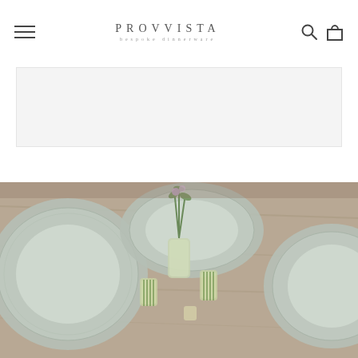PROVVISTA bespoke dinnerware — navigation header with hamburger menu, logo, search and cart icons
[Figure (other): Light gray banner/hero placeholder area]
[Figure (photo): Overhead photo of a rustic wooden table set with pale gray/sage embossed ceramic dinnerware plates, small glass vases with rosemary sprigs and purple flowers, and green-striped drinking glasses]